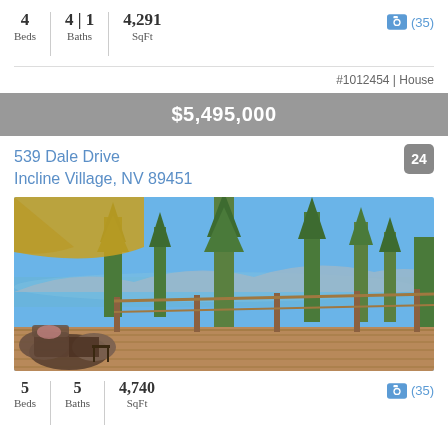4 Beds | 4 | 1 Baths | 4,291 SqFt
#1012454 | House
$5,495,000
539 Dale Drive
Incline Village, NV 89451
[Figure (photo): Outdoor deck with patio furniture overlooking Lake Tahoe through pine trees, blue sky in background]
5 | 5 | 4,740